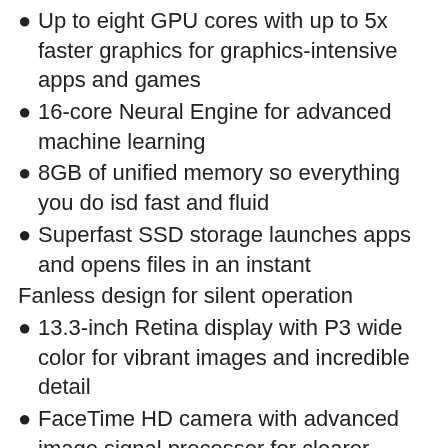Up to eight GPU cores with up to 5x faster graphics for graphics-intensive apps and games
16-core Neural Engine for advanced machine learning
8GB of unified memory so everything you do isd fast and fluid
Superfast SSD storage launches apps and opens files in an instant
Fanless design for silent operation
13.3-inch Retina display with P3 wide color for vibrant images and incredible detail
FaceTime HD camera with advanced image signal processor for clearer, sharper video calls
Grab the deal at the link below!
Get Deal